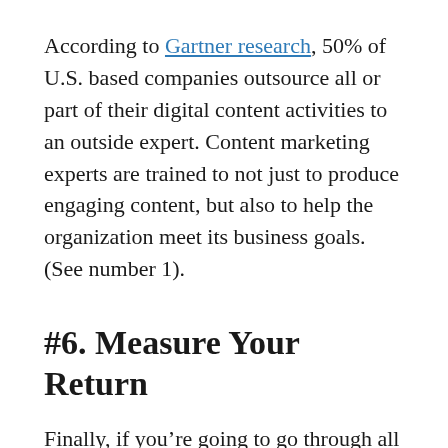According to Gartner research, 50% of U.S. based companies outsource all or part of their digital content activities to an outside expert. Content marketing experts are trained to not just to produce engaging content, but also to help the organization meet its business goals. (See number 1).
#6. Measure Your Return
Finally, if you're going to go through all this trouble to set up a content program, you should be able to know if it's working or not. Don't dare start your content activities if you